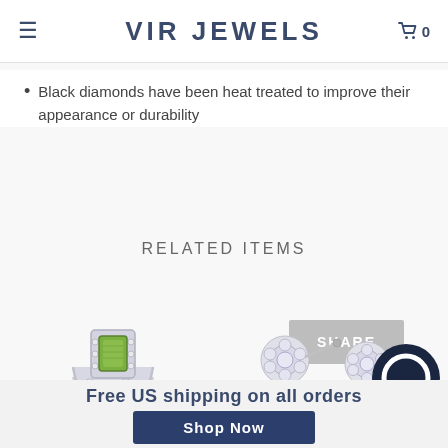VIR JEWELS
Black diamonds have been heat treated to improve their appearance or durability
SHARE
RELATED ITEMS
[Figure (photo): Silver ring with green emerald center stone surrounded by small diamonds]
1.10 cttw Emerald
[Figure (photo): Pair of diamond cluster stud earrings in silver]
1/10 cttw Diamond Stud
Free US shipping on all orders
Shop Now